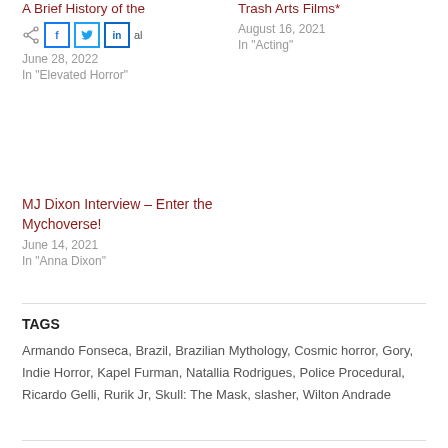A Brief History of the
Share buttons (Facebook, Twitter, LinkedIn)
June 28, 2022
In "Elevated Horror"
Trash Arts Films*
August 16, 2021
In "Acting"
MJ Dixon Interview – Enter the Mychoverse!
June 14, 2021
In "Anna Dixon"
TAGS
Armando Fonseca, Brazil, Brazilian Mythology, Cosmic horror, Gory, Indie Horror, Kapel Furman, Natallia Rodrigues, Police Procedural, Ricardo Gelli, Rurik Jr, Skull: The Mask, slasher, Wilton Andrade